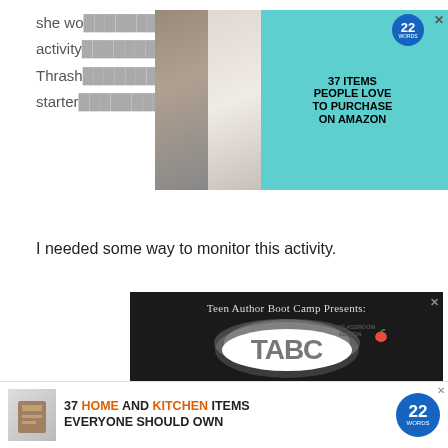she would...activity...Thrash...es. For starter...hisia.
[Figure (advertisement): Top ad banner: '37 ITEMS PEOPLE LOVE TO PURCHASE ON AMAZON' with teal background, product images, and 22Words badge]
I needed some way to monitor this activity.
[Figure (advertisement): Teen Author Boot Camp Presents: TABC Classroom Edition ad on dark chalkboard background. Over 60 writing courses taught by professional authors! Subscription Plans for Individuals, Families, Schools, and Home School Pods]
[Figure (advertisement): Bottom banner: 37 HOME AND KITCHEN ITEMS EVERYONE SHOULD OWN, 22Words badge]